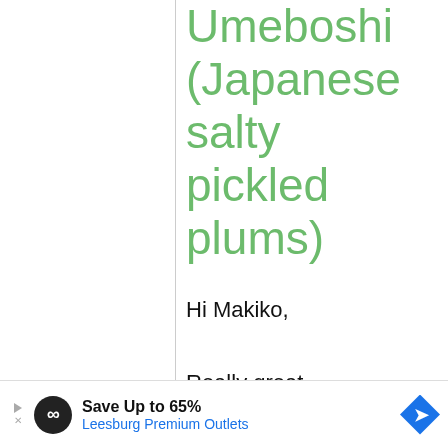Umeboshi (Japanese salty pickled plums)
Hi Makiko,

Really great information on Japanese foods here, and my interest lies specifically in
[Figure (other): Advertisement banner: Save Up to 65% Leesburg Premium Outlets with logo and directional arrow icon]